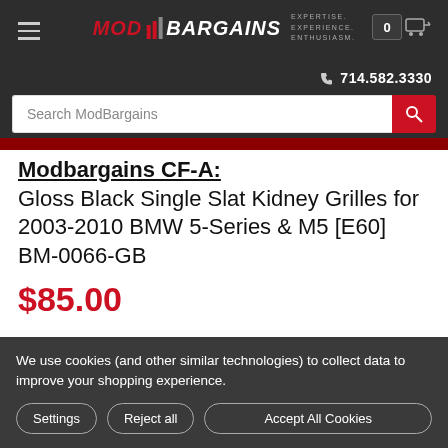MOD BARGAINS | EXPERTISE. EXPERIENCE. ENTHUSIASM. | 714.582.3330
Search ModBargains
Modbargains CF-A: Gloss Black Single Slat Kidney Grilles for 2003-2010 BMW 5-Series & M5 [E60] BM-0066-GB
$85.00
We use cookies (and other similar technologies) to collect data to improve your shopping experience.
Settings
Reject all
Accept All Cookies